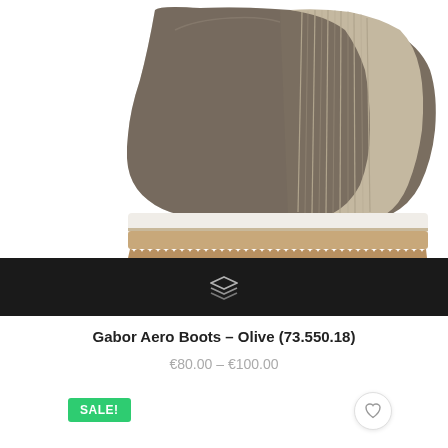[Figure (photo): Close-up photo of a Gabor Aero Boot in olive/taupe suede with chunky white and tan platform sole, shown against white background. The boot has an elastic side panel.]
[Figure (other): Black bar with a layered/stacked layers icon (three overlapping diamond/hexagon outlines) centered on it, used as a product card footer/action bar.]
Gabor Aero Boots – Olive (73.550.18)
€80.00 – €100.00
SALE!